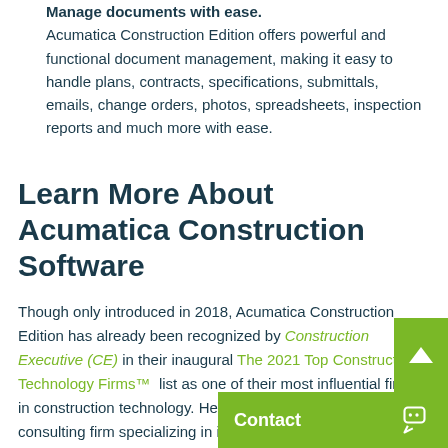Manage documents with ease. Acumatica Construction Edition offers powerful and functional document management, making it easy to handle plans, contracts, specifications, submittals, emails, change orders, photos, spreadsheets, inspection reports and much more with ease.
Learn More About Acumatica Construction Software
Though only introduced in 2018, Acumatica Construction Edition has already been recognized by Construction Executive (CE) in their inaugural The 2021 Top Construction Technology Firms™ list as one of their most influential firms in construction technology. Here at NexTec Group, a national consulting firm specializing in industry-specific technology, we encourage companies to learn how Acumatica co...